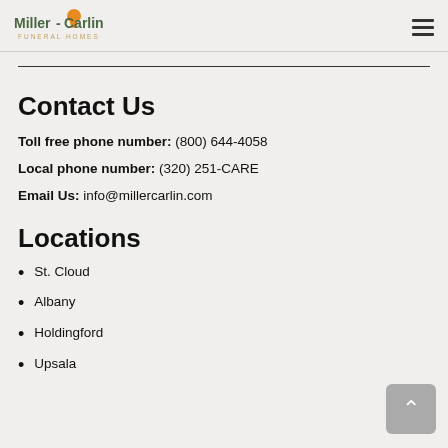Miller-Carlin Funeral Homes
Contact Us
Toll free phone number: (800) 644-4058
Local phone number: (320) 251-CARE
Email Us: info@millercarlin.com
Locations
St. Cloud
Albany
Holdingford
Upsala